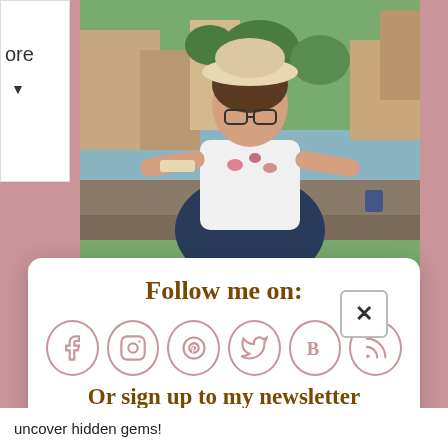[Figure (photo): A woman wearing glasses and a white hat, white floral top, navy skirt, standing on a bridge with a river and European town buildings in the background.]
Follow me on:
[Figure (infographic): Six social media icon circles: Facebook, Instagram, Pinterest, Twitter, Bloglovin, RSS feed — all pink/mauve outline circles]
Or sign up to my newsletter
Subscribe  Sign Up!
uncover hidden gems!